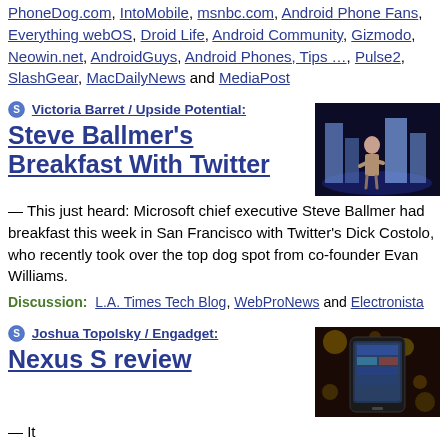PhoneDog.com, IntoMobile, msnbc.com, Android Phone Fans, Everything webOS, Droid Life, Android Community, Gizmodo, Neowin.net, AndroidGuys, Android Phones, Tips …, Pulse2, SlashGear, MacDailyNews and MediaPost
Victoria Barret / Upside Potential: Steve Ballmer's Breakfast With Twitter — This just heard: Microsoft chief executive Steve Ballmer had breakfast this week in San Francisco with Twitter's Dick Costolo, who recently took over the top dog spot from co-founder Evan Williams.
[Figure (photo): Steve Ballmer on stage with blue city skyline background]
Discussion: L.A. Times Tech Blog, WebProNews and Electronista
Joshua Topolsky / Engadget: Nexus S review — It
[Figure (photo): Nexus S smartphone with bokeh background]